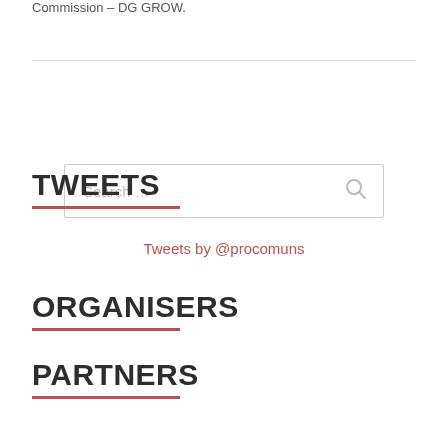Commission – DG GROW.
TWEETS
Tweets by @procomuns
ORGANISERS
PARTNERS